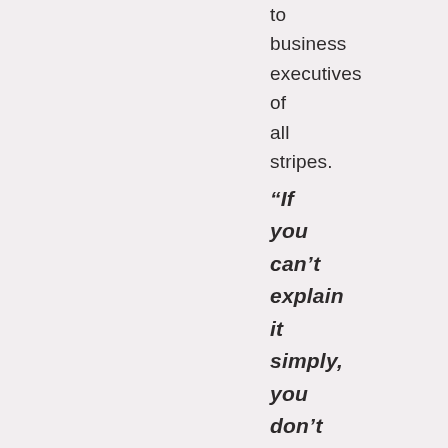to business executives of all stripes.
“If you can’t explain it simply, you don’t understand it